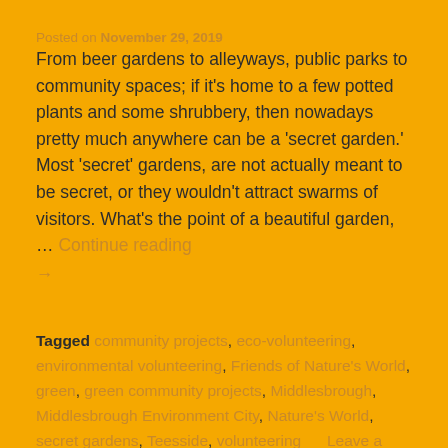Posted on November 29, 2019
From beer gardens to alleyways, public parks to community spaces; if it's home to a few potted plants and some shrubbery, then nowadays pretty much anywhere can be a 'secret garden.' Most 'secret' gardens, are not actually meant to be secret, or they wouldn't attract swarms of visitors. What's the point of a beautiful garden, … Continue reading →
Tagged community projects, eco-volunteering, environmental volunteering, Friends of Nature's World, green, green community projects, Middlesbrough, Middlesbrough Environment City, Nature's World, secret gardens, Teesside, volunteering      Leave a comment